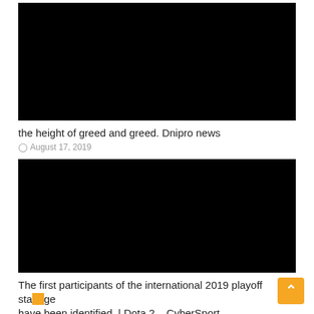[Figure (photo): Black image placeholder for article thumbnail]
the height of greed and greed. Dnipro news
© August 17, 2019
[Figure (photo): Black image placeholder for article thumbnail]
The first participants of the international 2019 playoff stage have been identified. | Dota 2 – CyberSport
© August 17, 2019